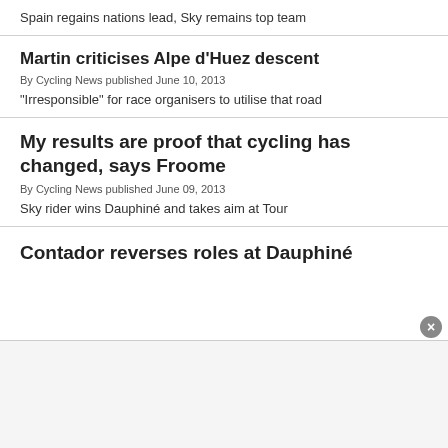Spain regains nations lead, Sky remains top team
Martin criticises Alpe d'Huez descent
By Cycling News published June 10, 2013
“Irresponsible” for race organisers to utilise that road
My results are proof that cycling has changed, says Froome
By Cycling News published June 09, 2013
Sky rider wins Dauphiné and takes aim at Tour
Contador reverses roles at Dauphiné